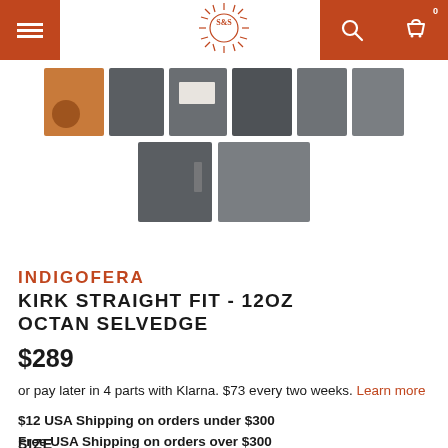S&S store header with menu, logo, search, and cart icons
[Figure (photo): Product thumbnail images showing various views of dark grey denim jeans including label, folded, packaged, and detail shots]
INDIGOFERA
KIRK STRAIGHT FIT - 12OZ OCTAN SELVEDGE
$289
or pay later in 4 parts with Klarna. $73 every two weeks. Learn more
$12 USA Shipping on orders under $300
Free USA Shipping on orders over $300
SIZE